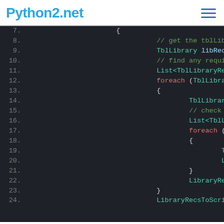Python2.net
[Figure (screenshot): Code editor screenshot showing C# code with line numbers 7-24 on a dark background. Lines show code involving TblLibrary, foreach loops, LibraryRecsToScript, and comments about getting tblLibrary records and finding requirement libraries.]